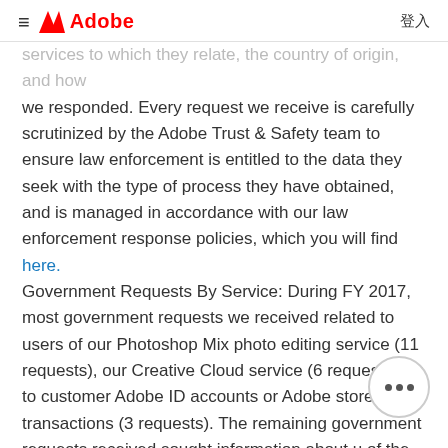≡  Adobe  登入
services to which they relate, the country of origin, and how we responded. Every request we receive is carefully scrutinized by the Adobe Trust & Safety team to ensure law enforcement is entitled to the data they seek with the type of process they have obtained, and is managed in accordance with our law enforcement response policies, which you will find here.
Government Requests By Service: During FY 2017, most government requests we received related to users of our Photoshop Mix photo editing service (11 requests), our Creative Cloud service (6 requests), or to customer Adobe ID accounts or Adobe store transactions (3 requests). The remaining government requests received sought information about users of the following apps or services: Adobe Acrobat (3 requests), our Lightroom photo storage service (3 requests), Acrobat Sign (2 requests), Adobe AIR (1 request), and Behance (1